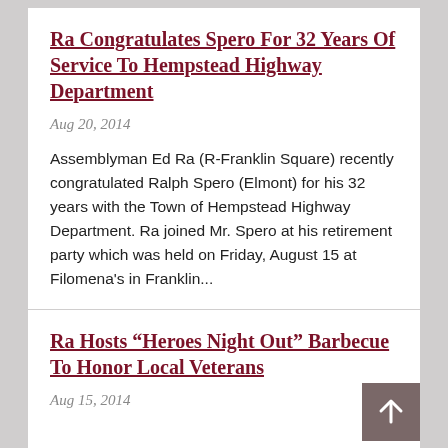Ra Congratulates Spero For 32 Years Of Service To Hempstead Highway Department
Aug 20, 2014
Assemblyman Ed Ra (R-Franklin Square) recently congratulated Ralph Spero (Elmont) for his 32 years with the Town of Hempstead Highway Department. Ra joined Mr. Spero at his retirement party which was held on Friday, August 15 at Filomena's in Franklin...
Ra Hosts “Heroes Night Out” Barbecue To Honor Local Veterans
Aug 15, 2014